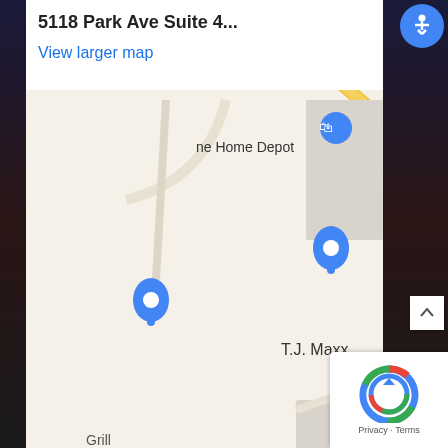[Figure (map): Google Maps screenshot showing location at 5118 Park Ave Suite 400, Memphis. Map shows surrounding businesses including T.J. Maxx, Walgreens, The Home Depot, Memphis Pizza Cafe, GameStop, Corky's Ribs, and Grill. Streets shown include Poplar Ave, Park Ave, and Wilbec Rd. Red location pin marks Suite 400. Map data ©2022. Includes zoom controls (+/-), Google logo, satellite thumbnail, keyboard shortcuts, and Terms of Use.]
[Figure (logo): reCAPTCHA logo with Privacy and Terms links in bottom right corner]